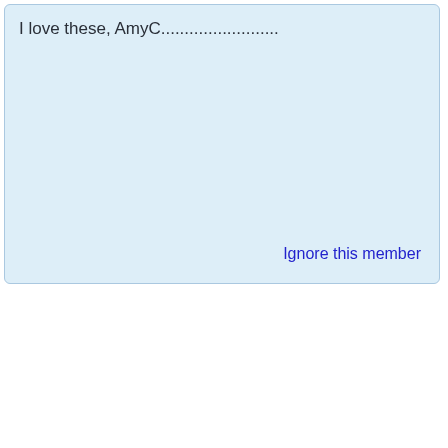I love these, AmyC.........................
Ignore this member